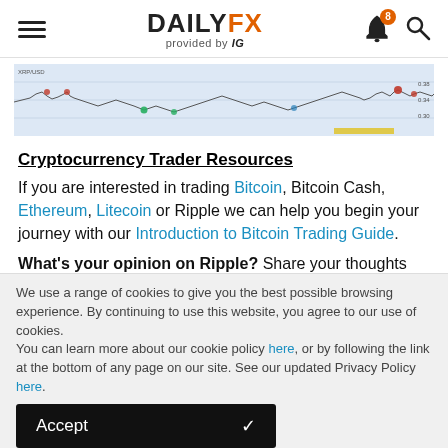DAILYFX provided by IG
[Figure (continuous-plot): A financial line chart showing price movements over time with a light blue background. The chart shows historical price data with small red and green markers indicating buy/sell points. The line fluctuates with notable peaks on the left and right sides.]
Cryptocurrency Trader Resources
If you are interested in trading Bitcoin, Bitcoin Cash, Ethereum, Litecoin or Ripple we can help you begin your journey with our Introduction to Bitcoin Trading Guide.
What's your opinion on Ripple? Share your thoughts and
We use a range of cookies to give you the best possible browsing experience. By continuing to use this website, you agree to our use of cookies.
You can learn more about our cookie policy here, or by following the link at the bottom of any page on our site. See our updated Privacy Policy here.
Accept